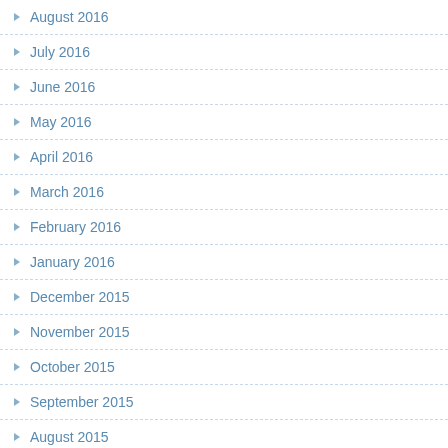August 2016
July 2016
June 2016
May 2016
April 2016
March 2016
February 2016
January 2016
December 2015
November 2015
October 2015
September 2015
August 2015
July 2015
June 2015
May 2015